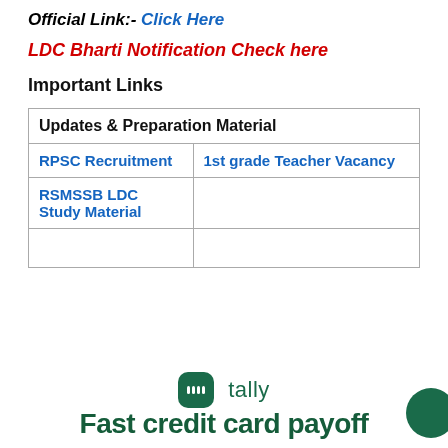Official Link:- Click Here
LDC Bharti Notification Check here
Important Links
| Updates & Preparation Material |  |
| --- | --- |
| RPSC Recruitment | 1st grade Teacher Vacancy |
| RSMSSB LDC Study Material |  |
|  |  |
[Figure (logo): Tally app logo with green rounded square icon and text 'tally']
Fast credit card payoff